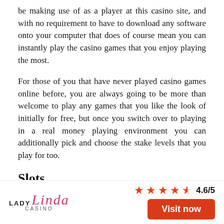be making use of as a player at this casino site, and with no requirement to have to download any software onto your computer that does of course mean you can instantly play the casino games that you enjoy playing the most.
For those of you that have never played casino games online before, you are always going to be more than welcome to play any games that you like the look of initially for free, but once you switch over to playing in a real money playing environment you can additionally pick and choose the stake levels that you play for too.
Slots
It does not matter whether you are a low stake penny slot player or a high rolling high stake slot player, no matter which types of slot machines you love playing
[Figure (logo): Lady Linda Casino logo with stylized script and star rating 4.6/5]
4.6/5
Visit now